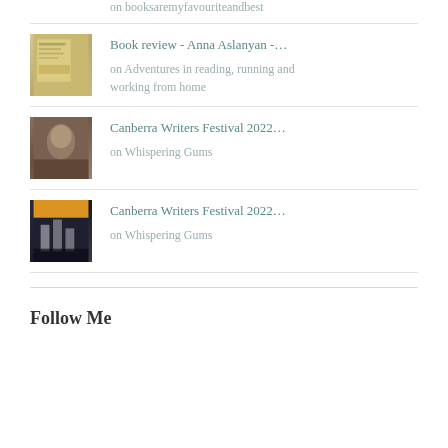on booksaremyfavouriteandbest
Book review - Anna Aslanyan -...
on Adventures in reading, running and working from home
Canberra Writers Festival 2022...
on Whispering Gums
Canberra Writers Festival 2022...
on Whispering Gums
Follow Me